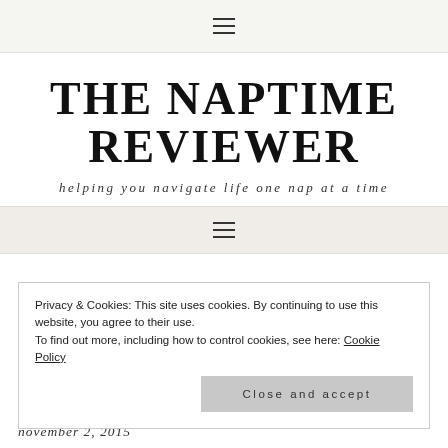≡
THE NAPTIME REVIEWER
helping you navigate life one nap at a time
≡
Privacy & Cookies: This site uses cookies. By continuing to use this website, you agree to their use.
To find out more, including how to control cookies, see here: Cookie Policy
Close and accept
november 2, 2015